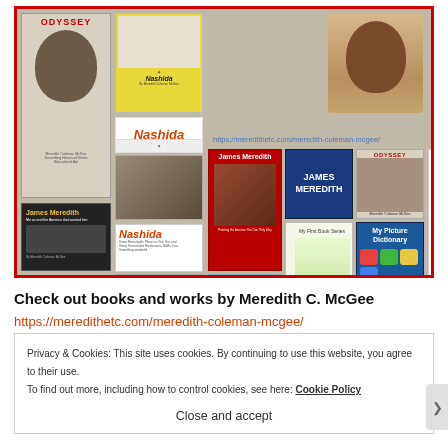[Figure (photo): Collage of book covers by Meredith C. McGee including Odyssey, Nashida, James Meredith, and My Picture Dictionary series, with author photo in top right]
Check out books and works by Meredith C. McGee
https://meredithetc.com/meredith-coleman-mcgee/
Privacy & Cookies: This site uses cookies. By continuing to use this website, you agree to their use.
To find out more, including how to control cookies, see here: Cookie Policy
Close and accept